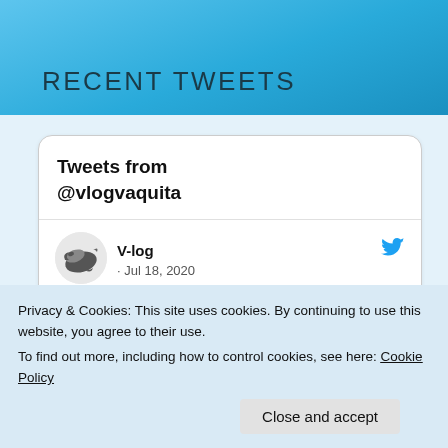RECENT TWEETS
Tweets from @vlogvaquita
V-log · Jul 18, 2020
Happy International #SavetheVaquita Day! Tune in to the live
Privacy & Cookies: This site uses cookies. By continuing to use this website, you agree to their use.
To find out more, including how to control cookies, see here: Cookie Policy
Close and accept